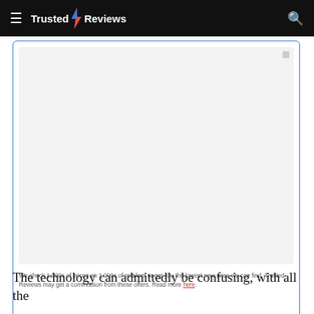Trusted Reviews
[Figure (other): Placeholder price widget box with light grey content area and blue border]
We check 1,000s of prices on 1,000s of retailers to get you the lowest new price we can find. Trusted Reviews may get a commission from these offers. Read more here.
The technology can admittedly be confusing, with all the